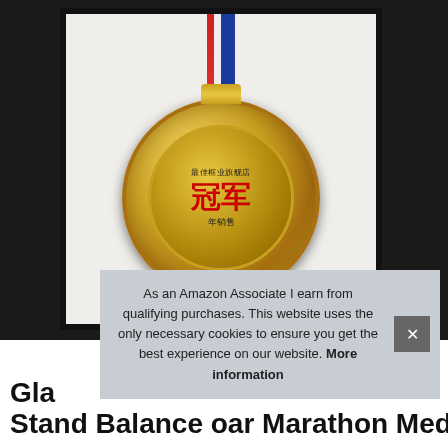[Figure (photo): A gold medal with Chinese characters reading '最佳框业旗舰店 冠军 年销售' (Best Framing Flagship Store Champion Annual Sales), hanging from a red, white, and blue ribbon, displayed in a black frame against a white background.]
As an Amazon Associate I earn from qualifying purchases. This website uses the only necessary cookies to ensure you get the best experience on our website. More information
Gla Stand Balance oar Marathon Medal